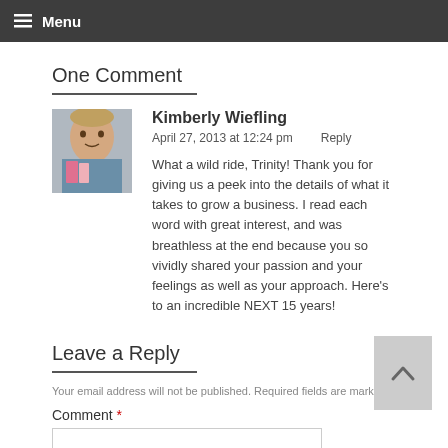Menu
One Comment
[Figure (photo): Avatar photo of Kimberly Wiefling, a woman holding books]
Kimberly Wiefling
April 27, 2013 at 12:24 pm    Reply
What a wild ride, Trinity! Thank you for giving us a peek into the details of what it takes to grow a business. I read each word with great interest, and was breathless at the end because you so vividly shared your passion and your feelings as well as your approach. Here's to an incredible NEXT 15 years!
Leave a Reply
Your email address will not be published. Required fields are marked *
Comment *